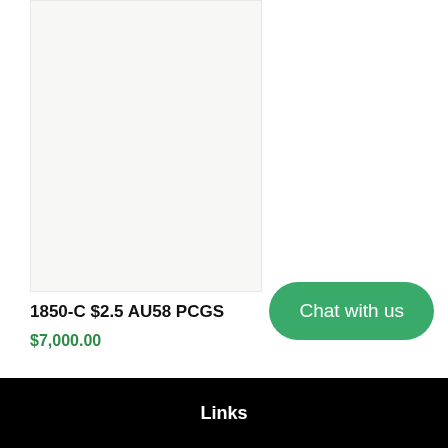[Figure (photo): Product image placeholder area with light gray background, showing a coin or numismatic item for sale]
1850-C $2.5 AU58 PCGS
$7,000.00
Chat with us
Links